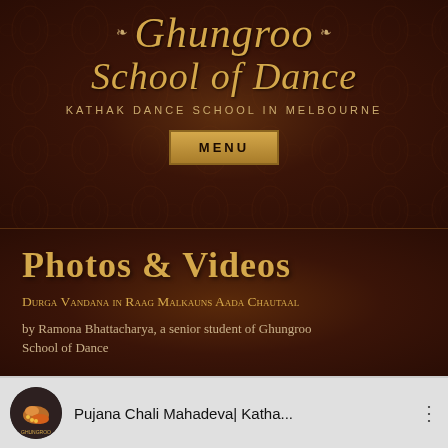Ghungroo School of Dance
KATHAK DANCE SCHOOL IN MELBOURNE
MENU
Photos & Videos
Durga Vandana in Raag Malkauns Aada Chautaal
by Ramona Bhattacharya, a senior student of Ghungroo School of Dance
Pujana Chali Mahadeva| Katha...